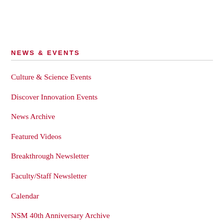NEWS & EVENTS
Culture & Science Events
Discover Innovation Events
News Archive
Featured Videos
Breakthrough Newsletter
Faculty/Staff Newsletter
Calendar
NSM 40th Anniversary Archive
Lecture Series Archive